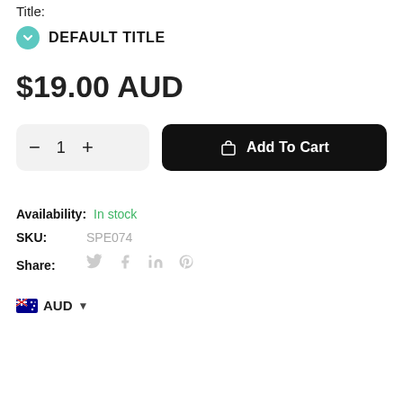Title:
DEFAULT TITLE
$19.00 AUD
1  Add To Cart
Availability: In stock
SKU: SPE074
Share:
AUD